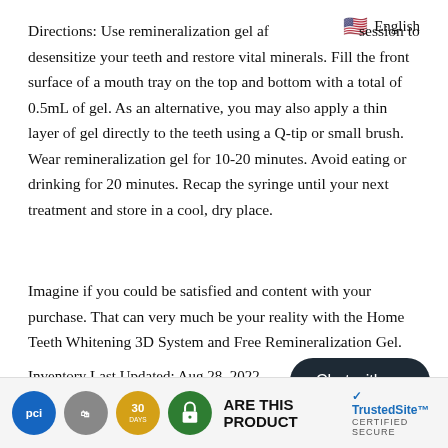Directions: Use remineralization gel after each session to desensitize your teeth and restore vital minerals. Fill the front surface of a mouth tray on the top and bottom with a total of 0.5mL of gel. As an alternative, you may also apply a thin layer of gel directly to the teeth using a Q-tip or small brush. Wear remineralization gel for 10-20 minutes. Avoid eating or drinking for 20 minutes. Recap the syringe until your next treatment and store in a cool, dry place.
Imagine if you could be satisfied and content with your purchase. That can very much be your reality with the Home Teeth Whitening 3D System and Free Remineralization Gel.
Inventory Last Updated: Aug 28, 2022
[Figure (other): Chat with us button, dark rounded rectangle]
[Figure (other): Footer bar with PCI, Shopify, 30-day, secure lock badge icons, SHARE THIS PRODUCT text, and TrustedSite CERTIFIED SECURE badge]